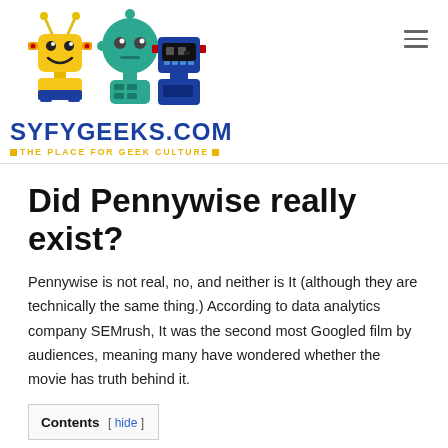[Figure (logo): SyfyGeeks.com logo with three cartoon robots (yellow square robot, teal round robot, dark blue rectangular robot) above the site name SYFYGEEKS.COM and tagline THE PLACE FOR GEEK CULTURE]
Did Pennywise really exist?
Pennywise is not real, no, and neither is It (although they are technically the same thing.) According to data analytics company SEMrush, It was the second most Googled film by audiences, meaning many have wondered whether the movie has truth behind it.
Contents [ hide ]